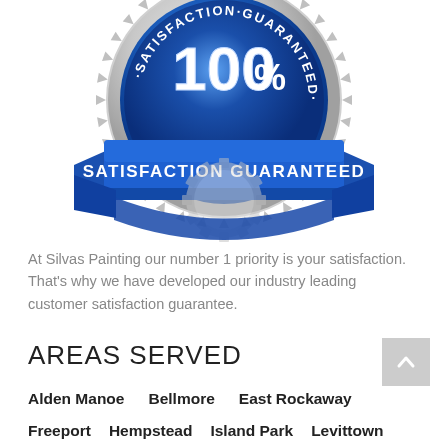[Figure (illustration): 100% Satisfaction Guaranteed badge/seal — a blue and silver circular medal with serrated silver edge, blue ribbon banner across the middle reading 'SATISFACTION GUARANTEED' in white uppercase letters, and large white '100%' text in the center of the blue circle. Text 'SATISFACTION' and 'GUARANTEED' also appears around the top arc of the circle.]
At Silvas Painting our number 1 priority is your satisfaction. That's why we have developed our industry leading customer satisfaction guarantee.
AREAS SERVED
Alden Manoe
Bellmore
East Rockaway
Freeport
Hempstead
Island Park
Levittown